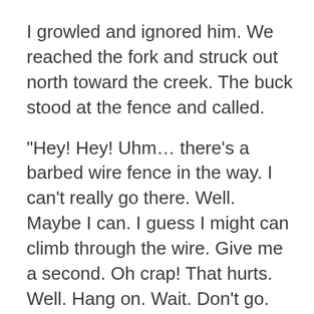I growled and ignored him. We reached the fork and struck out north toward the creek. The buck stood at the fence and called.
"Hey! Hey! Uhm… there's a barbed wire fence in the way. I can't really go there. Well. Maybe I can. I guess I might can climb through the wire. Give me a second. Oh crap! That hurts. Well. Hang on. Wait. Don't go. I'm coming with. Wait!"
I left him.
Soon the forest was silent except for my boots squishing into the red mud and the bell ringing  on the dog's collar. That's when I rounded the bend to see the cattle coming through the creek in my direction. Nothing